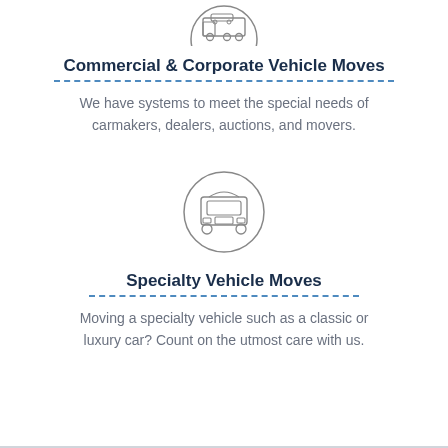[Figure (illustration): Icon of a car transporter/truck inside a partial circle, top of page]
Commercial & Corporate Vehicle Moves
We have systems to meet the special needs of carmakers, dealers, auctions, and movers.
[Figure (illustration): Icon of a front-facing truck inside a circle]
Specialty Vehicle Moves
Moving a specialty vehicle such as a classic or luxury car? Count on the utmost care with us.